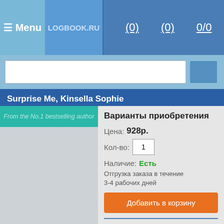≡ Menu  LOGBOOK.RU  (0)  (0)  0/0
[Figure (screenshot): Search input bar with blue background and white input field]
Surprise Me, Kinsella Sophie
[Figure (photo): Book cover showing teal header with text 'From the No.1 bestselling author']
Варианты приобретения
Цена: 928р.
Кол-во: 1
Наличие: Есть
Отгрузка заказа в течение 3-4 рабочих дней
Добавить в корзину
Цена: 949р.
Кол-во: 1